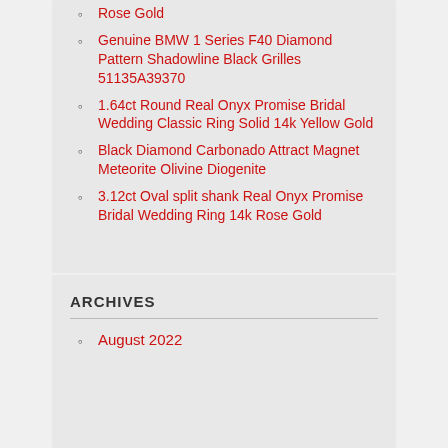Rose Gold
Genuine BMW 1 Series F40 Diamond Pattern Shadowline Black Grilles 51135A39370
1.64ct Round Real Onyx Promise Bridal Wedding Classic Ring Solid 14k Yellow Gold
Black Diamond Carbonado Attract Magnet Meteorite Olivine Diogenite
3.12ct Oval split shank Real Onyx Promise Bridal Wedding Ring 14k Rose Gold
ARCHIVES
August 2022